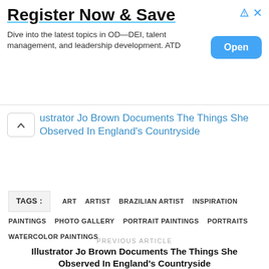[Figure (other): Advertisement banner: 'Register Now & Save' with text 'Dive into the latest topics in OD—DEI, talent management, and leadership development. ATD' and a blue 'Open' button. Ad corner icons top right.]
Illustrator Jo Brown Documents The Things She Observed In England's Countryside
TAGS: ART ARTIST BRAZILIAN ARTIST INSPIRATION PAINTINGS PHOTO GALLERY PORTRAIT PAINTINGS PORTRAITS WATERCOLOR PAINTINGS
PREVIOUS ARTICLE
Illustrator Jo Brown Documents The Things She Observed In England's Countryside